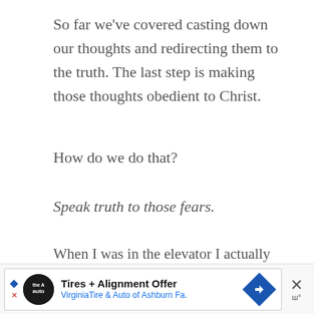So far we've covered casting down our thoughts and redirecting them to the truth. The last step is making those thoughts obedient to Christ.
How do we do that?
Speak truth to those fears.
When I was in the elevator I actually began speaking God's Word under my breath. Just releasing the words from my mouth began to melt away the fear.
[Figure (other): Advertisement banner for Virginia Tire & Auto of Ashburn Fa. showing Tires + Alignment Offer with logo and navigation arrow icon]